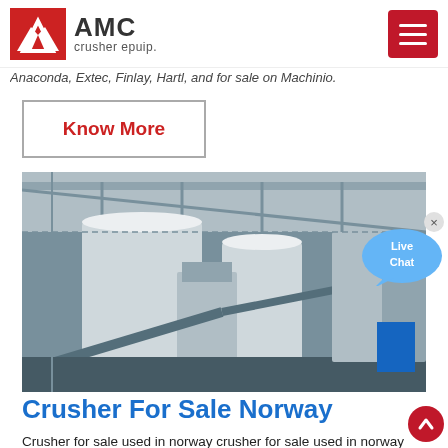AMC crusher epuip.
Anaconda, Extec, Finlay, Hartl, and for sale on Machinio.
Know More
[Figure (photo): Industrial crushing plant with metal frame structure, silos, conveyor belts and machinery under an open sky.]
Crusher For Sale Norway
Crusher for sale used in norway crusher for sale used in norway retrade is a surplus management cooperation of larger private and public companies where used machines equipment vehicles and other surplus materiel is sold on auctions mobile hammer mill coal